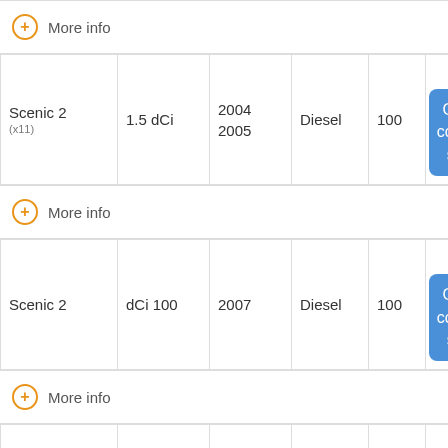More info
| Model | Engine | Year | Fuel | HP | Action |
| --- | --- | --- | --- | --- | --- |
| Scenic 2 (x11) | 1.5 dCi | 2004 2005 | Diesel | 100 | Go to the compatible scanner |
More info
| Model | Engine | Year | Fuel | HP | Action |
| --- | --- | --- | --- | --- | --- |
| Scenic 2 | dCi 100 | 2007 | Diesel | 100 | Go to the compatible scanner |
More info
| Model | Engine | Year | Fuel | HP | Action |
| --- | --- | --- | --- | --- | --- |
|  |  | 2005 |  |  |  |